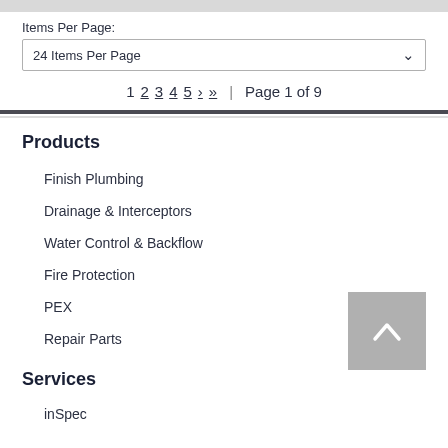Items Per Page:
24 Items Per Page
1 2 3 4 5 > » | Page 1 of 9
Products
Finish Plumbing
Drainage & Interceptors
Water Control & Backflow
Fire Protection
PEX
Repair Parts
Services
inSpec